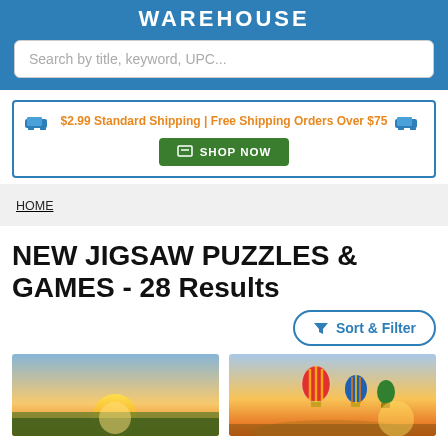WAREHOUSE
Search by title, keyword, UPC...
$2.99 Standard Shipping | Free Shipping Orders Over $75  SHOP NOW
HOME
NEW JIGSAW PUZZLES & GAMES - 28 Results
Sort & Filter
[Figure (photo): Sunset over a field, warm golden orange tones]
[Figure (photo): Colorful hot air balloons floating over landscape at sunset]